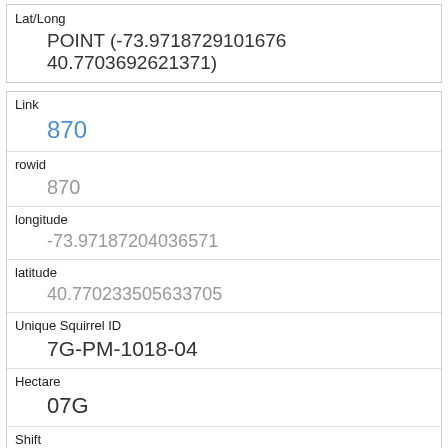| Field | Value |
| --- | --- |
| Lat/Long | POINT (-73.9718729101676 40.7703692621371) |
| Link | 870 |
| rowid | 870 |
| longitude | -73.97187204036571 |
| latitude | 40.770233505633705 |
| Unique Squirrel ID | 7G-PM-1018-04 |
| Hectare | 07G |
| Shift | PM |
| Date | 10182018 |
| Hectare Squirrel Number |  |